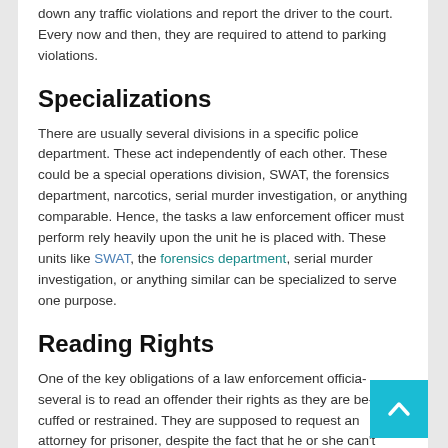down any traffic violations and report the driver to the court. Every now and then, they are required to attend to parking violations.
Specializations
There are usually several divisions in a specific police department. These act independently of each other. These could be a special operations division, SWAT, the forensics department, narcotics, serial murder investigation, or anything comparable. Hence, the tasks a law enforcement officer must perform rely heavily upon the unit he is placed with. These units like SWAT, the forensics department, serial murder investigation, or anything similar can be specialized to serve one purpose.
Reading Rights
One of the key obligations of a law enforcement official several is to read an offender their rights as they are being cuffed or restrained. They are supposed to request an attorney for prisoner, despite the fact that he or she can't